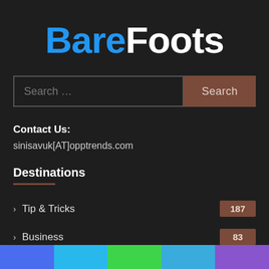BareFoots
[Figure (other): Search input field with placeholder 'Search ...' and a brown Search button]
Contact Us:
sinisavuk[AT]opptrends.com
Destinations
Tip & Tricks  187
Business  83